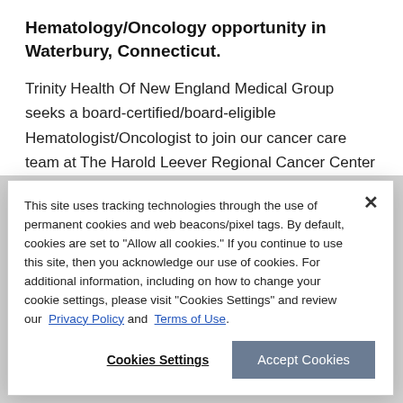Hematology/Oncology opportunity in Waterbury, Connecticut.
Trinity Health Of New England Medical Group seeks a board-certified/board-eligible Hematologist/Oncologist to join our cancer care team at The Harold Leever Regional Cancer Center—a state-of-the-art 40,000 square-foot outpatient
This site uses tracking technologies through the use of permanent cookies and web beacons/pixel tags. By default, cookies are set to "Allow all cookies." If you continue to use this site, then you acknowledge our use of cookies. For additional information, including on how to change your cookie settings, please visit "Cookies Settings" and review our  Privacy Policy and  Terms of Use.
Cookies Settings
Accept Cookies